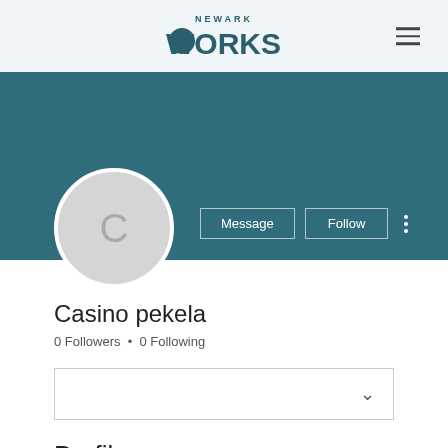NEWARK WORKS
[Figure (screenshot): Teal/dark cyan profile banner background]
[Figure (illustration): Circular avatar placeholder with letter C]
Message
Follow
Casino pekela
0 Followers • 0 Following
Profile